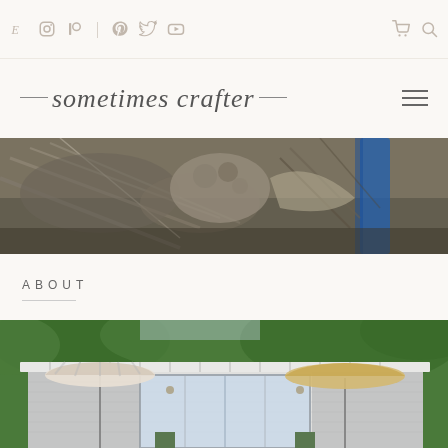Sometimes Crafter — blog header with social icons and navigation
[Figure (photo): Close-up photo of tangled natural fibers/driftwood with a blue strap visible on the right side]
ABOUT
[Figure (photo): Exterior photo of a mid-century modern white house with a flat roof, sliding glass doors, two striped and plain patio umbrellas, surrounded by trees]